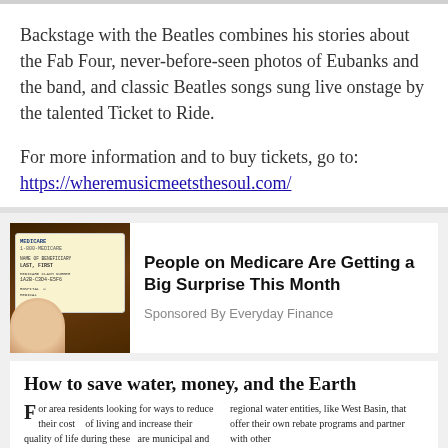Backstage with the Beatles combines his stories about the Fab Four, never-before-seen photos of Eubanks and the band, and classic Beatles songs sung live onstage by the talented Ticket to Ride.
For more information and to buy tickets, go to: https://wheremusicmeetsthesoul.com/
[Figure (photo): Advertisement image showing a Medicare card being held by a hand, next to text about Medicare surprise]
People on Medicare Are Getting a Big Surprise This Month
Sponsored By Everyday Finance
How to save water, money, and the Earth
For area residents looking for ways to reduce their cost of living and increase their quality of life during these ... are municipal and regional water entities, like West Basin, that offer their own rebate programs and partner with other